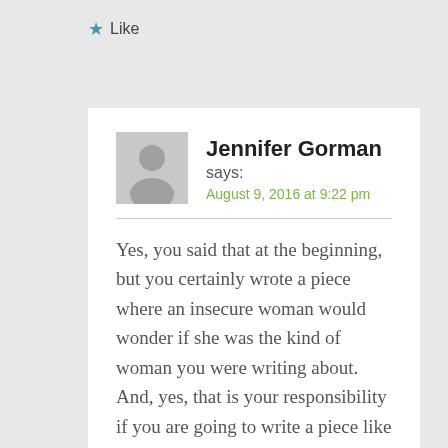★ Like
Jennifer Gorman
says:
August 9, 2016 at 9:22 pm
Yes, you said that at the beginning, but you certainly wrote a piece where an insecure woman would wonder if she was the kind of woman you were writing about. And, yes, that is your responsibility if you are going to write a piece like this. Being a pastor does not